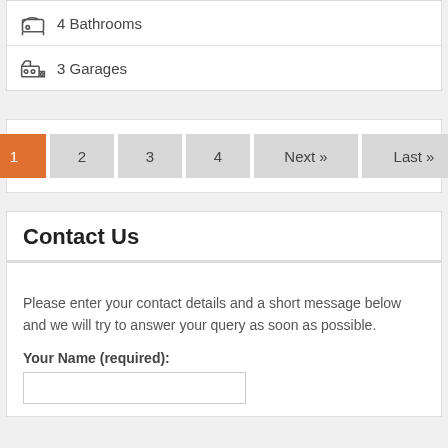4 Bathrooms
3 Garages
Pagination: 1 2 3 4 Next >> Last >>
Contact Us
Please enter your contact details and a short message below and we will try to answer your query as soon as possible.
Your Name (required):